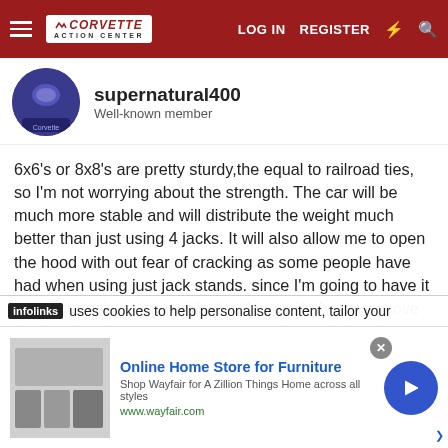Corvette Action Center — LOG IN  REGISTER
supernatural400
Well-known member
6x6's or 8x8's are pretty sturdy,the equal to railroad ties, so I'm not worrying about the strength. The car will be much more stable and will distribute the weight much better than just using 4 jacks. It will also allow me to open the hood with out fear of cracking as some people have had when using just jack stands. since I'm going to have it out of commision for awhile, I will most likely just remove the hood to give me more access. I also replacing the radiator with a new callaway aluminum one and it's a pain to do with the hood in place, the check here to come
infolinks  uses cookies to help personalise content, tailor your
Online Home Store for Furniture
Shop Wayfair for A Zillion Things Home across all styles
www.wayfair.com